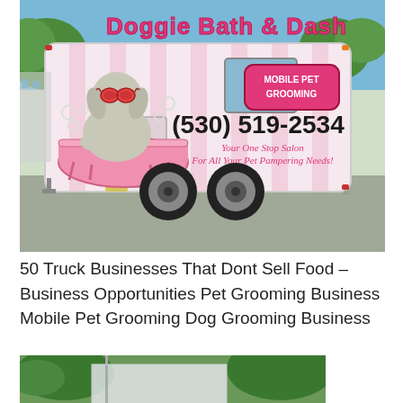[Figure (photo): A pink and white mobile pet grooming trailer branded 'Doggie Bath & Dash' with a cartoon dog in a bathtub, phone number (530) 519-2534, and text 'Your One Stop Salon For All Your Pet Pampering Needs!' and 'MOBILE PET GROOMING' sign.]
50 Truck Businesses That Dont Sell Food – Business Opportunities Pet Grooming Business Mobile Pet Grooming Dog Grooming Business
[Figure (photo): Partial view of another vehicle or truck business, partially cropped at the bottom of the page.]